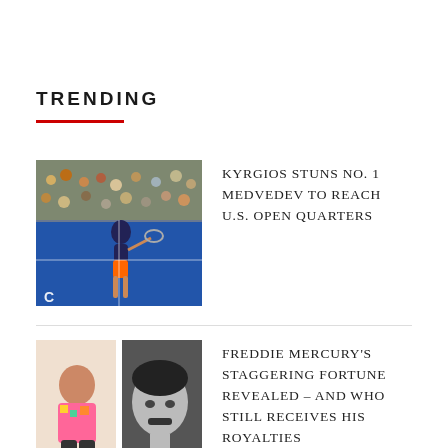TRENDING
KYRGIOS STUNS NO. 1 MEDVEDEV TO REACH U.S. OPEN QUARTERS
FREDDIE MERCURY'S STAGGERING FORTUNE REVEALED – AND WHO STILL RECEIVES HIS ROYALTIES
TOM BRADY REPLIES TO KANYE WEST'S RANT BEFORE HE GOES OFF ABOUT PETE DAVIDSON 'ANTAGONIZING' HIM